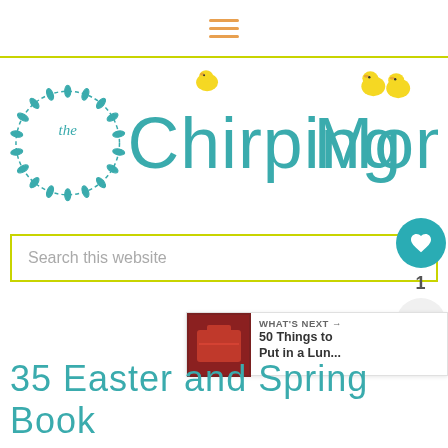≡ (hamburger menu icon)
[Figure (logo): The Chirping Moms logo: decorative wreath circle with 'the' text inside, followed by 'Chirping Moms' in teal/aqua lettering with yellow chick illustrations]
Search this website
1
WHAT'S NEXT → 50 Things to Put in a Lun...
35 Easter and Spring Book